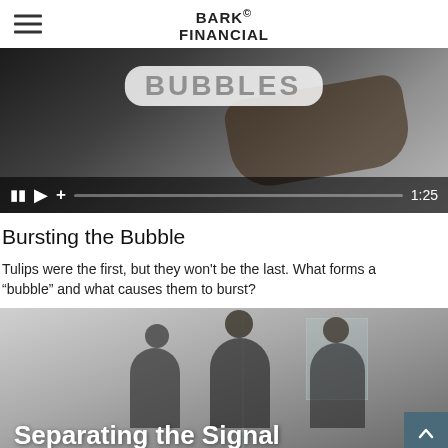BARK© FINANCIAL
[Figure (screenshot): Video thumbnail showing the word BUBBLES in large bold text on a white rounded overlay on a dark background, with a hand holding a tablet. Video controls show at the bottom including pause, play, plus icons, a progress bar, and time 1:25.]
Bursting the Bubble
Tulips were the first, but they won't be the last. What forms a "bubble" and what causes them to burst?
[Figure (photo): Photo of people in a meeting or consultation setting, partially visible. Large white bold text at the bottom reads 'Separating the Signal'. A teal scroll-to-top button appears in the lower right corner.]